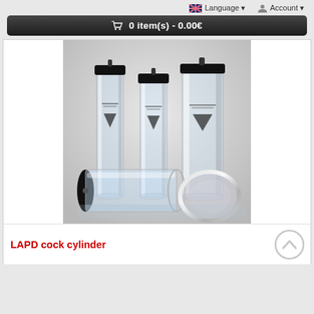Language ▼   Account ▼
🛒 0 item(s) - 0.00€
[Figure (photo): Three clear acrylic cylindrical tubes with black end caps standing upright, one lying on its side with its black cap off, and a chrome/silver ring end cap, photographed on a light grey background.]
LAPD cock cylinder